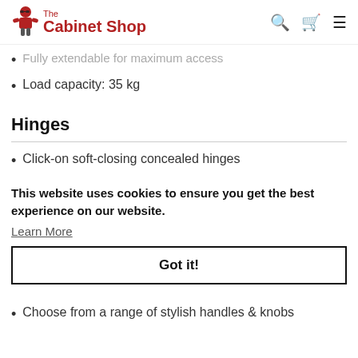The Cabinet Shop
Fully extendable for maximum access
Load capacity: 35 kg
Hinges
Click-on soft-closing concealed hinges
This website uses cookies to ensure you get the best experience on our website.
Learn More
Got it!
Choose from a range of stylish handles & knobs